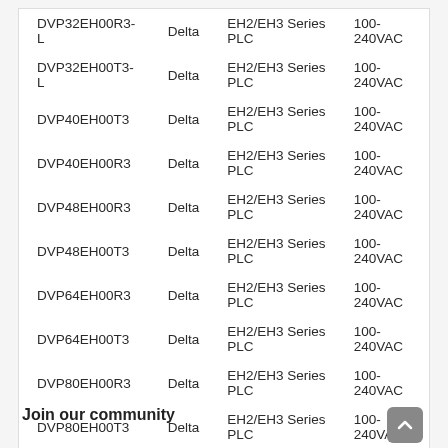| DVP32EH00R3-L | Delta | EH2/EH3 Series PLC | 100-240VAC |
| DVP32EH00T3-L | Delta | EH2/EH3 Series PLC | 100-240VAC |
| DVP40EH00T3 | Delta | EH2/EH3 Series PLC | 100-240VAC |
| DVP40EH00R3 | Delta | EH2/EH3 Series PLC | 100-240VAC |
| DVP48EH00R3 | Delta | EH2/EH3 Series PLC | 100-240VAC |
| DVP48EH00T3 | Delta | EH2/EH3 Series PLC | 100-240VAC |
| DVP64EH00R3 | Delta | EH2/EH3 Series PLC | 100-240VAC |
| DVP64EH00T3 | Delta | EH2/EH3 Series PLC | 100-240VAC |
| DVP80EH00R3 | Delta | EH2/EH3 Series PLC | 100-240VAC |
| DVP80EH00T3 | Delta | EH2/EH3 Series PLC | 100-240VAC |
Join our community